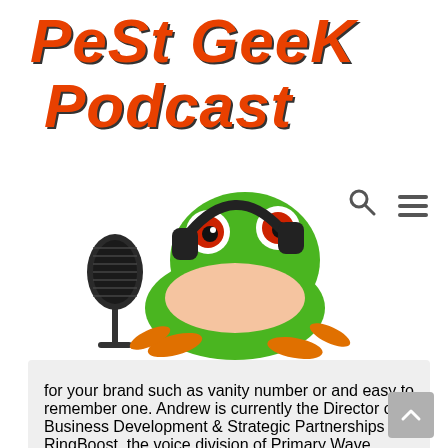[Figure (logo): Pest Geek Podcast logo with orange italic bold text and a green tree frog wearing headphones next to a microphone]
for your brand such as vanity number or and easy to remember one. Andrew is currently the Director of Business Development & Strategic Partnerships for RingBoost, the voice division of Primary Wave Media. 20 years of sales,…